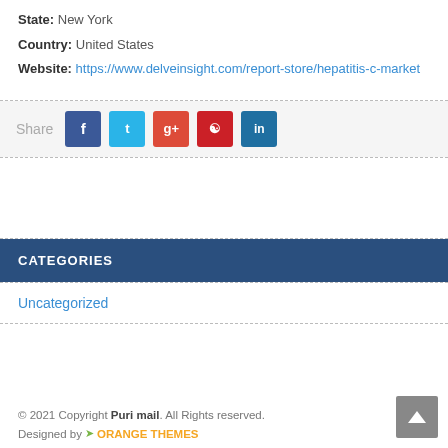State: New York
Country: United States
Website: https://www.delveinsight.com/report-store/hepatitis-c-market
[Figure (infographic): Social share bar with Facebook, Twitter, Google+, Pinterest, and LinkedIn buttons]
CATEGORIES
Uncategorized
© 2021 Copyright Puri mail. All Rights reserved. Designed by ORANGE THEMES